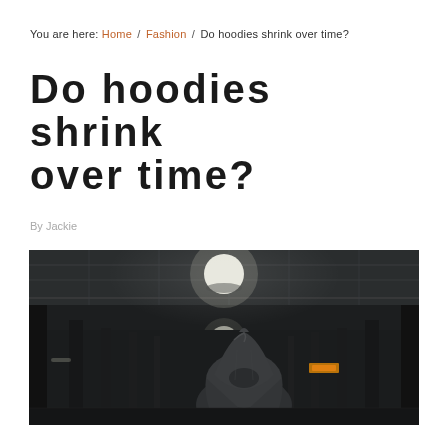You are here: Home / Fashion / Do hoodies shrink over time?
Do hoodies shrink over time?
By Jackie
[Figure (photo): Dark moody photo of a person wearing a hoodie from behind, standing in a dimly lit corridor or subway hallway with ceiling lights above.]